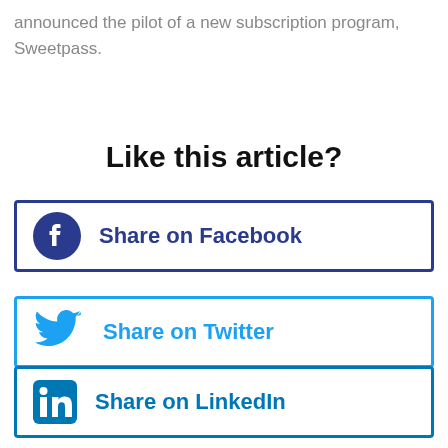announced the pilot of a new subscription program, Sweetpass.
Like this article?
[Figure (infographic): Share on Facebook button with Facebook logo icon in dark navy blue color]
[Figure (infographic): Share on Twitter button with Twitter bird logo in light blue color]
[Figure (infographic): Share on LinkedIn button with LinkedIn 'in' logo in blue color]